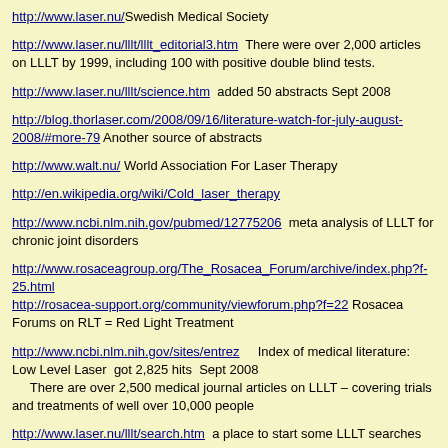http://www.laser.nu/ Swedish Medical Society
http://www.laser.nu/lllt/lllt_editorial3.htm  There were over 2,000 articles on LLLT by 1999, including 100 with positive double blind tests.
http://www.laser.nu/lllt/science.htm  added 50 abstracts Sept 2008
http://blog.thorlaser.com/2008/09/16/literature-watch-for-july-august-2008/#more-79 Another source of abstracts
http://www.walt.nu/ World Association For Laser Therapy
http://en.wikipedia.org/wiki/Cold_laser_therapy
http://www.ncbi.nlm.nih.gov/pubmed/12775206  meta analysis of LLLT for chronic joint disorders
http://www.rosaceagroup.org/The_Rosacea_Forum/archive/index.php?f-25.html http://rosacea-support.org/community/viewforum.php?f=22 Rosacea Forums on RLT = Red Light Treatment
http://www.ncbi.nlm.nih.gov/sites/entrez    Index of medical literature: Low Level Laser  got 2,825 hits  Sept 2008
    There are over 2,500 medical journal articles on LLLT – covering trials and treatments of well over 10,000 people
http://www.laser.nu/lllt/search.htm  a place to start some LLLT searches